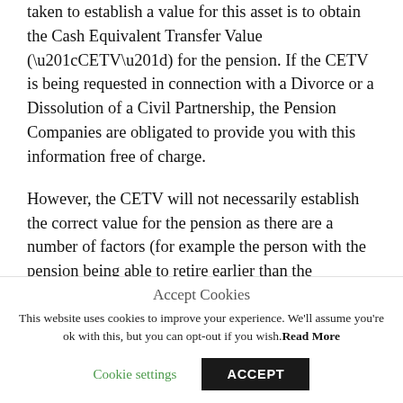taken to establish a value for this asset is to obtain the Cash Equivalent Transfer Value (“CETV”) for the pension. If the CETV is being requested in connection with a Divorce or a Dissolution of a Civil Partnership, the Pension Companies are obligated to provide you with this information free of charge.
However, the CETV will not necessarily establish the correct value for the pension as there are a number of factors (for example the person with the pension being able to retire earlier than the traditional age of 65), which can mean the pension is in fact more valuable
Accept Cookies
This website uses cookies to improve your experience. We'll assume you're ok with this, but you can opt-out if you wish. Read More
Cookie settings | ACCEPT